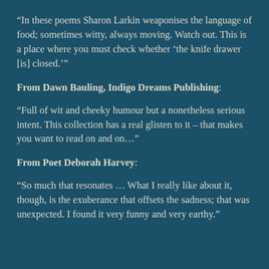“In these poems Sharon Larkin weaponises the language of food; sometimes witty, always moving. Watch out. This is a place where you must check whether ‘the knife drawer [is] closed.’”
From Dawn Bauling, Indigo Dreams Publishing:
“Full of wit and cheeky humour but a nonetheless serious intent. This collection has a real glisten to it – that makes you want to read on and on…”
From Poet Deborah Harvey:
“So much that resonates … What I really like about it, though, is the exuberance that offsets the sadness; that was unexpected. I found it very funny and very earthy.”